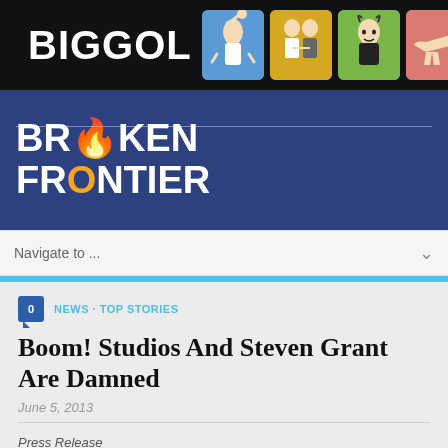BIGGOL — Broken Frontier website header with navigation icons
[Figure (logo): Broken Frontier logo on blue background with white line accent]
Navigate to ...
NEWS · TOP STORIES
Boom! Studios And Steven Grant Are Damned
June 5, 2013
Press Release
In July, BOOM! Studios will bring back into